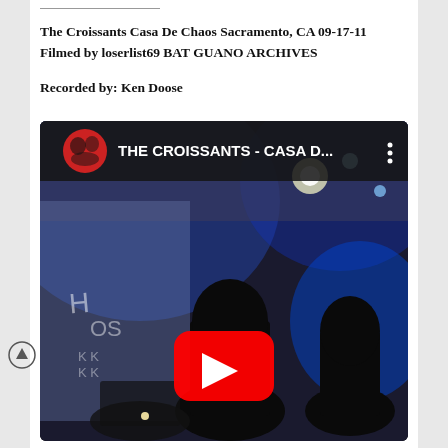The Croissants Casa De Chaos Sacramento, CA 09-17-11
Filmed by loserlist69 BAT GUANO ARCHIVES
Recorded by: Ken Doose
[Figure (screenshot): YouTube video embed thumbnail showing The Croissants performing at Casa De Chaos. The thumbnail shows a dark blue-lit venue with graffiti on walls, performers silhouetted, a YouTube play button in the center, and the video title 'THE CROISSANTS - CASA D...' in the top bar with a red circular channel avatar on the left.]